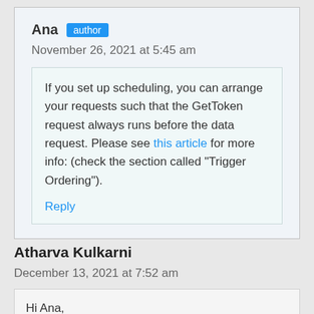Ana  author
November 26, 2021 at 5:45 am
If you set up scheduling, you can arrange your requests such that the GetToken request always runs before the data request. Please see this article for more info: (check the section called “Trigger Ordering”).
Reply
Atharva Kulkarni
December 13, 2021 at 7:52 am
Hi Ana,
How can I iterate the date in the body of my POST API to get data into Google